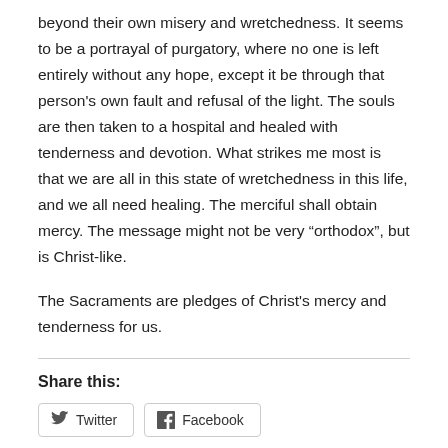beyond their own misery and wretchedness. It seems to be a portrayal of purgatory, where no one is left entirely without any hope, except it be through that person's own fault and refusal of the light. The souls are then taken to a hospital and healed with tenderness and devotion. What strikes me most is that we are all in this state of wretchedness in this life, and we all need healing. The merciful shall obtain mercy. The message might not be very “orthodox”, but is Christ-like.
The Sacraments are pledges of Christ's mercy and tenderness for us.
Share this:
Twitter  Facebook